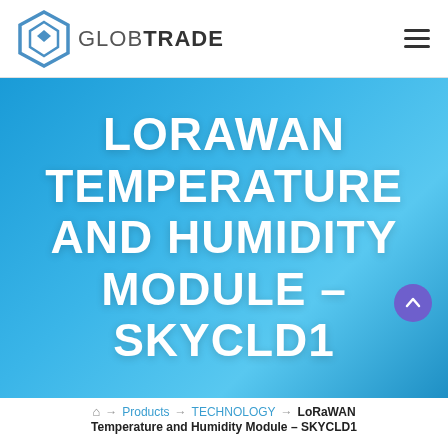[Figure (logo): GlobTrade hexagonal shield logo in blue, with text GLOBTRADE beside it]
LORAWAN TEMPERATURE AND HUMIDITY MODULE – SKYCLD1
⌂ → Products → TECHNOLOGY → LoRaWAN Temperature and Humidity Module – SKYCLD1